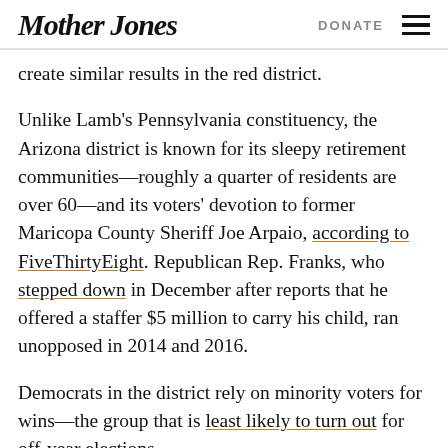Mother Jones | DONATE
create similar results in the red district.
Unlike Lamb's Pennsylvania constituency, the Arizona district is known for its sleepy retirement communities—roughly a quarter of residents are over 60—and its voters' devotion to former Maricopa County Sheriff Joe Arpaio, according to FiveThirtyEight. Republican Rep. Franks, who stepped down in December after reports that he offered a staffer $5 million to carry his child, ran unopposed in 2014 and 2016.
Democrats in the district rely on minority voters for wins—the group that is least likely to turn out for off-year elections.